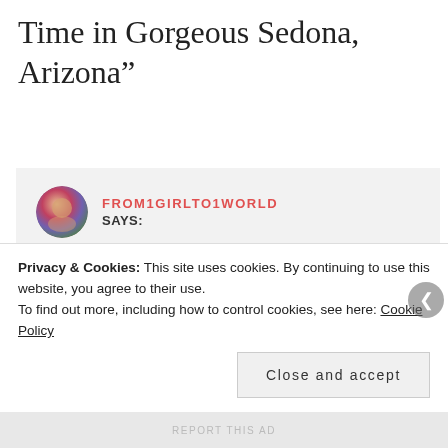Time in Gorgeous Sedona, Arizona”
FROM1GIRLTO1WORLD SAYS:
April 3, 2017 at 1:43 pm
I was intrigued too when I saw the Chapel of the Holy Cross! I have never seen a church like that before in my travels...
Privacy & Cookies: This site uses cookies. By continuing to use this website, you agree to their use. To find out more, including how to control cookies, see here: Cookie Policy
Close and accept